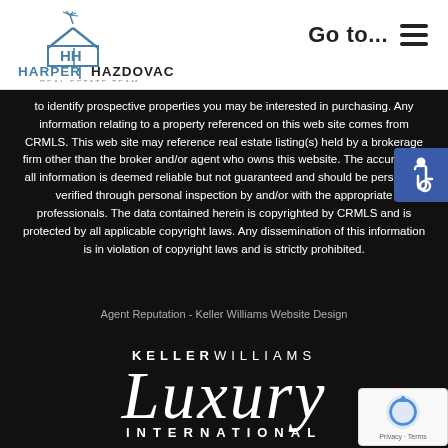[Figure (logo): Harper Hazdovac Real Estate Team logo with HH house icon and blue text]
Go to...
to identify prospective properties you may be interested in purchasing. Any information relating to a property referenced on this web site comes from CRMLS. This web site may reference real estate listing(s) held by a brokerage firm other than the broker and/or agent who owns this website. The accuracy of all information is deemed reliable but not guaranteed and should be personally verified through personal inspection by and/or with the appropriate professionals. The data contained herein is copyrighted by CRMLS and is protected by all applicable copyright laws. Any dissemination of this information is in violation of copyright laws and is strictly prohibited.
Agent Reputation - Keller Williams Website Design
[Figure (logo): Keller Williams Luxury International logo with script Luxury text]